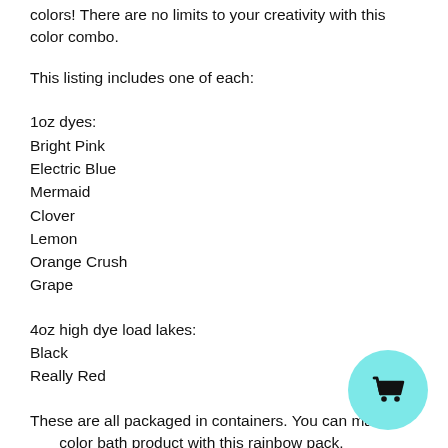colors! There are no limits to your creativity with this color combo.
This listing includes one of each:
1oz dyes:
Bright Pink
Electric Blue
Mermaid
Clover
Lemon
Orange Crush
Grape
4oz high dye load lakes:
Black
Really Red
These are all packaged in containers. You can mak... color bath product with this rainbow pack. Remember
[Figure (illustration): Cyan/turquoise circular shopping cart button with black cart icon]